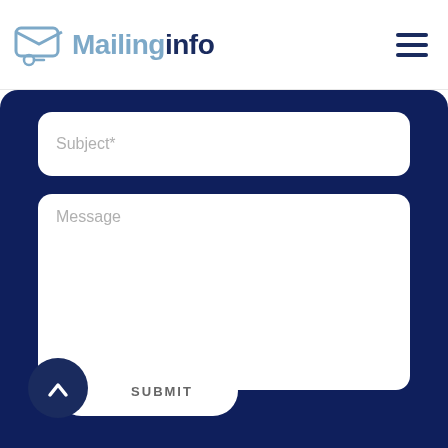Mailinginfo
[Figure (screenshot): Website screenshot showing a contact form with Subject and Message fields, and a Submit button, on a dark navy background with the Mailinginfo logo at the top.]